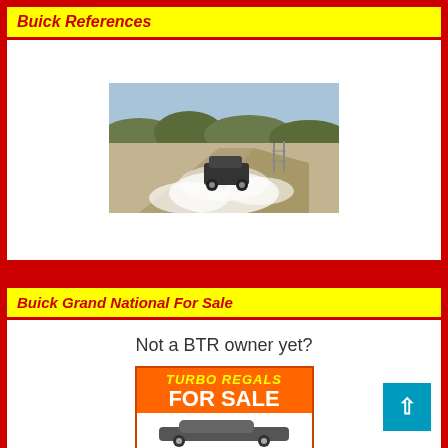Buick References
[Figure (photo): A car doing a burnout or driving fast on a dusty/smoky road with trees in background]
Buick Grand National For Sale
Not a BTR owner yet?
[Figure (infographic): Orange banner reading TURBO REGALS FOR SALE with a car silhouette below in white]
[Figure (other): Cyan/teal scroll-to-top button with up arrow in bottom right corner]